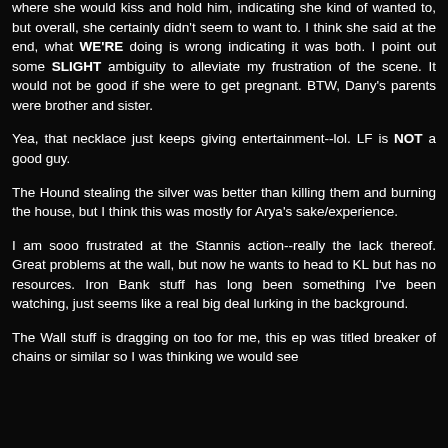where she would kiss and hold him, indicating she kind of wanted to, but overall, she certainly didn't seem to want to. I think she said at the end, what WE'RE doing is wrong indicating it was both. I point out some SLIGHT ambiguity to alleviate my frustration of the scene. It would not be good if she were to get pregnant. BTW, Dany's parents were brother and sister.
Yea, that necklace just keeps giving entertainment--lol. LF is NOT a good guy.
The Hound stealing the silver was better than killing them and burning the house, but I think this was mostly for Arya's sake/experience.
I am sooo frustrated at the Stannis action--really the lack thereof. Great problems at the wall, but now he wants to head to KL but has no resources. Iron Bank stuff has long been something I've been watching, just seems like a real big deal lurking in the background.
The Wall stuff is dragging on too for me, this ep was titled breaker of chains or similar so I was thinking we would see